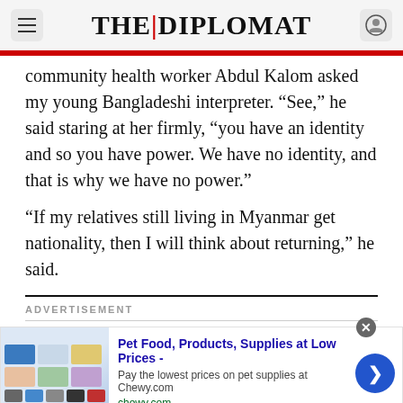THE DIPLOMAT
community health worker Abdul Kalom asked my young Bangladeshi interpreter. “See,” he said staring at her firmly, “you have an identity and so you have power. We have no identity, and that is why we have no power.”
“If my relatives still living in Myanmar get nationality, then I will think about returning,” he said.
ADVERTISEMENT
[Figure (screenshot): Advertisement banner for Chewy.com: Pet Food, Products, Supplies at Low Prices. Pay the lowest prices on pet supplies at Chewy.com. Shows pet product images and a blue arrow button.]